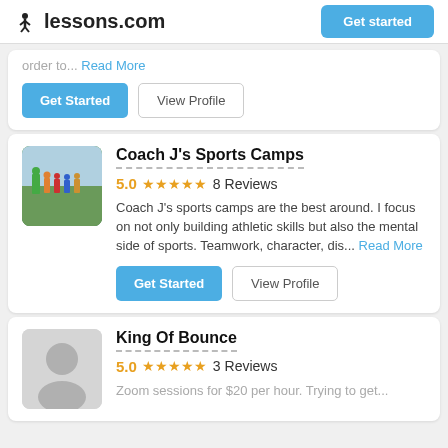lessons.com | Get started
order to... Read More
Get Started | View Profile
Coach J's Sports Camps
5.0 ★★★★★ 8 Reviews
Coach J's sports camps are the best around. I focus on not only building athletic skills but also the mental side of sports. Teamwork, character, dis... Read More
Get Started | View Profile
King Of Bounce
5.0 ★★★★★ 3 Reviews
Zoom sessions for $20 per hour. Trying to get...